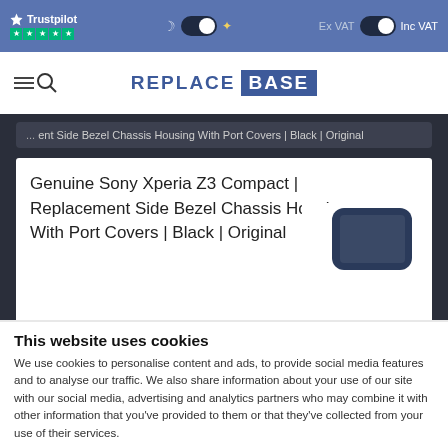Trustpilot ★★★★★ | Dark/Light toggle | Ex VAT / Inc VAT toggle
[Figure (logo): Replace Base logo with navigation menu icon and search icon]
...ent Side Bezel Chassis Housing With Port Covers | Black | Original
Genuine Sony Xperia Z3 Compact | Replacement Side Bezel Chassis Housing With Port Covers | Black | Original
This website uses cookies
We use cookies to personalise content and ads, to provide social media features and to analyse our traffic. We also share information about your use of our site with our social media, advertising and analytics partners who may combine it with other information that you've provided to them or that they've collected from your use of their services.